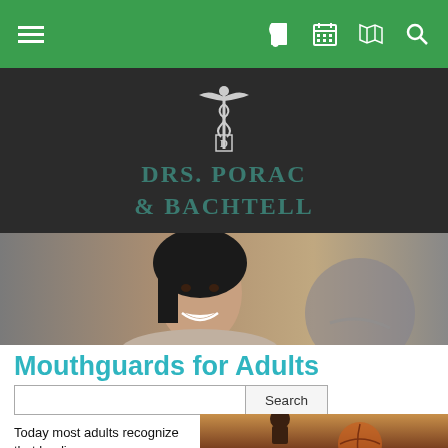≡  📞  📅  🗺  🔍
[Figure (logo): Caduceus logo with letter D, followed by 'Drs. Porac & Bachtell' dental practice name on dark background]
[Figure (photo): Smiling woman with dark hair, portrait style hero image]
Mouthguards for Adults
Search
Today most adults recognize that leading a healthy...
[Figure (photo): Man holding basketball, sports activity photo]